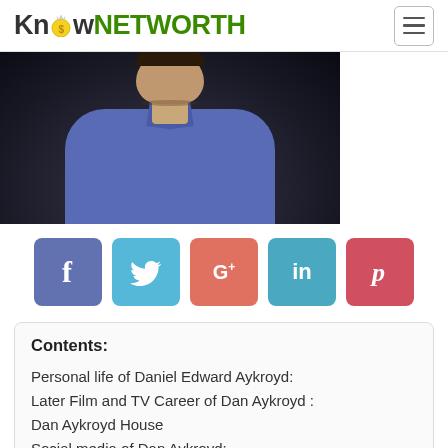KnowNETWORTH
[Figure (photo): A man wearing a blue button-up shirt photographed against a dark background, visible from shoulders up.]
[Figure (infographic): Social media share buttons row: Facebook (f), Twitter (bird), Google+ (G+), LinkedIn (in), Pinterest (P)]
Contents:
Personal life of Daniel Edward Aykroyd:
Later Film and TV Career of Dan Aykroyd :
Dan Aykroyd House
Social media of Dan Aykroyd: